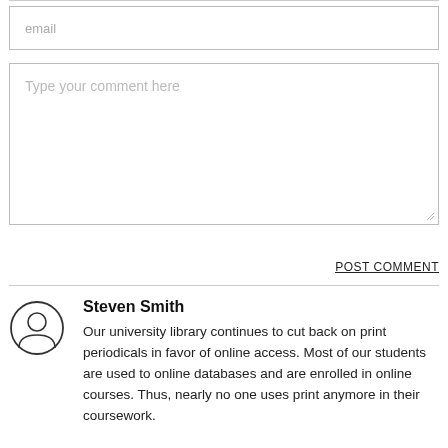[Figure (other): Email input field with placeholder text 'email']
[Figure (other): Comment textarea with placeholder text 'Type your comment here']
POST COMMENT
[Figure (illustration): User avatar icon — circle with person silhouette]
Steven Smith
Our university library continues to cut back on print periodicals in favor of online access. Most of our students are used to online databases and are enrolled in online courses. Thus, nearly no one uses print anymore in their coursework.